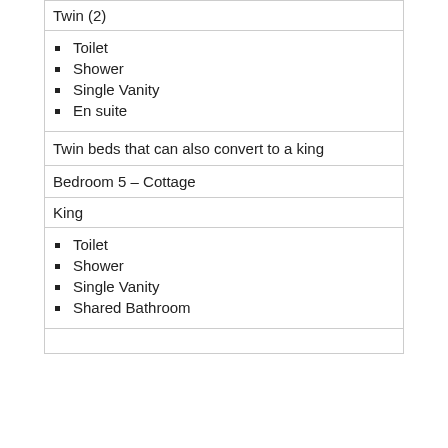Twin (2)
Toilet
Shower
Single Vanity
En suite
Twin beds that can also convert to a king
Bedroom 5 – Cottage
King
Toilet
Shower
Single Vanity
Shared Bathroom